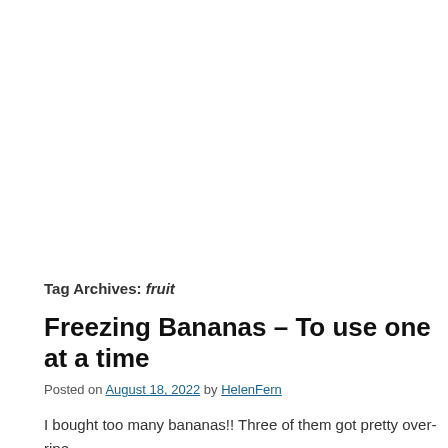Tag Archives: fruit
Freezing Bananas – To use one at a time
Posted on August 18, 2022 by HelenFern
I bought too many bananas!! Three of them got pretty over-ripe. oven on to make bread or muffins! Freezing is the only option. get all mushed… Continue reading →